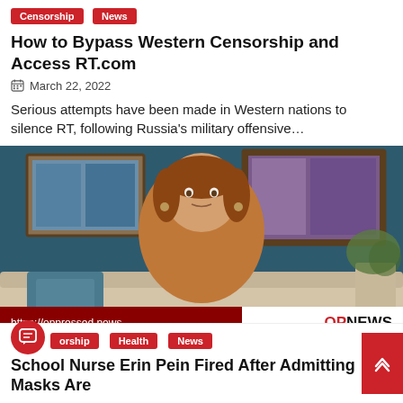Censorship | News
How to Bypass Western Censorship and Access RT.com
March 22, 2022
Serious attempts have been made in Western nations to silence RT, following Russia's military offensive…
[Figure (photo): Woman in orange sweater sitting on a couch in front of artwork on a blue wall, with an OPNEWS lower-third overlay showing https://oppressed.news]
orship | Health | News
School Nurse Erin Pein Fired After Admitting Masks Are